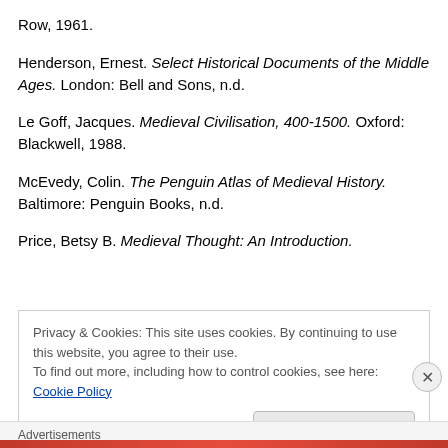Row, 1961.
Henderson, Ernest. Select Historical Documents of the Middle Ages. London: Bell and Sons, n.d.
Le Goff, Jacques. Medieval Civilisation, 400-1500. Oxford: Blackwell, 1988.
McEvedy, Colin. The Penguin Atlas of Medieval History. Baltimore: Penguin Books, n.d.
Price, Betsy B. Medieval Thought: An Introduction.
Privacy & Cookies: This site uses cookies. By continuing to use this website, you agree to their use. To find out more, including how to control cookies, see here: Cookie Policy
Close and accept
Advertisements